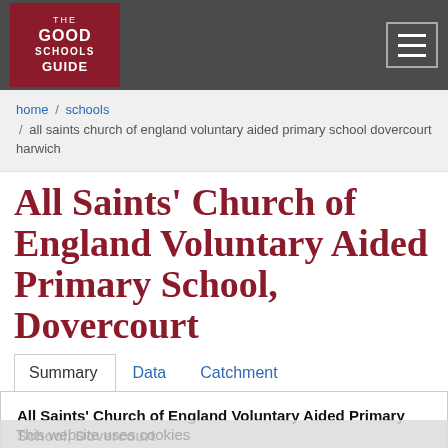THE GOOD SCHOOLS GUIDE
home / schools / all saints church of england voluntary aided primary school dovercourt harwich
All Saints' Church of England Voluntary Aided Primary School, Dovercourt
Summary  Data  Catchment
All Saints' Church of England Voluntary Aided Primary School, Dovercourt
Main Road
Dovercourt
Harwich
This website uses cookies